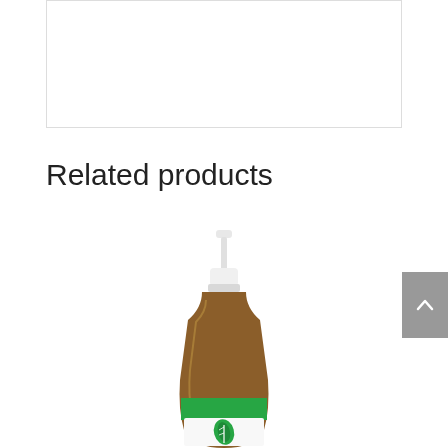This product is not promoted as preventing or treating any illness
Related products
[Figure (photo): Amber glass spray bottle with white pump top and green label featuring a leaf logo, for a related product]